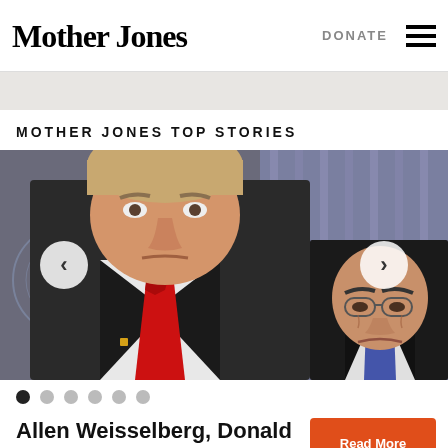Mother Jones   DONATE  ☰
MOTHER JONES TOP STORIES
[Figure (photo): Photo of Donald Trump in foreground wearing a red tie, and Allen Weisselberg in background, both in dark suits, with carousel navigation arrows on left and right]
Allen Weisselberg, Donald Trump's